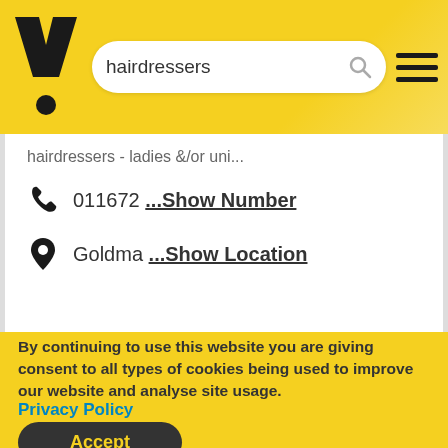[Figure (screenshot): Yellow Pages logo: bold V shape with dot below]
hairdressers
hairdressers - ladies &/or uni...
011672 ...Show Number
Goldma ...Show Location
By continuing to use this website you are giving consent to all types of cookies being used to improve our website and analyse site usage.
Privacy Policy
Accept